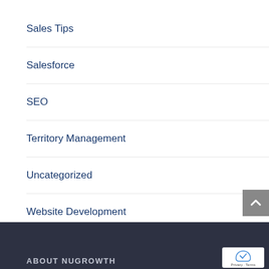[Figure (other): Accessibility icon: circular dark blue border with white human figure inside]
Sales Tips
Salesforce
SEO
Territory Management
Uncategorized
Website Development
Writing Marketing Content
[Figure (other): Grey back-to-top button with upward chevron arrow]
ABOUT NUGROWTH
[Figure (other): Google reCAPTCHA badge with Privacy and Terms links]